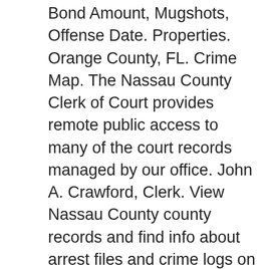Bond Amount, Mugshots, Offense Date. Properties. Orange County, FL. Crime Map. The Nassau County Clerk of Court provides remote public access to many of the court records managed by our office. John A. Crawford, Clerk. View Nassau County county records and find info about arrest files and crime logs on our jail record database. Thursday, December 3, 2020. from your area. Leeper in new term News Staff We were very successful in 2018 and need to work harder to achieve that same success in 2020. The information and photos presented on this site have been collected from the websites of County Sheriff's Offices or Clerk of Courts. 1.5K likes. The defendant was subsequently arrested, and a warrant was later issued in August of 2020 when he failed to appear in court. As the safety net organization for Nassau County residents in need, Barnabas Center continues to be on the front lines during the COVID-19 crisis. Wilcox Jennifer Lynn . County Jail. Police and Public Offices in Nassau County, FL. As a 501(c)(3) nonprofit organization, the Nassau County Council on Aging serves as an advocate and resource for those age 60 and older seeking information, counseling, assistance and